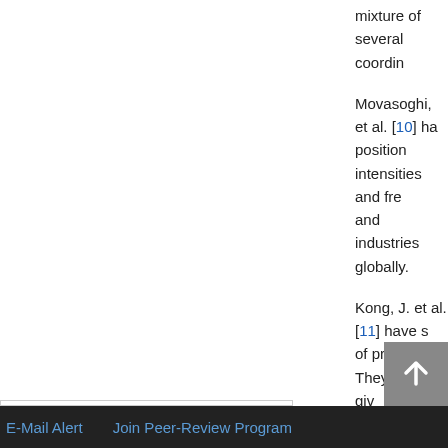mixture of several coordin
Movasoghi, et al. [10] ha position intensities and fre and industries globally.
Kong, J. et al. [11] have s of proteins. They have giv the assumption that any p The percentage of every vibration for each seconda
FTIR studies of proteins a of relation to struct
Venyaminov, S. Y. arginine, asparagin residues have int
Top
ABSTRACT
Introduction
Basic Theory of Infrared Vibrational Spectroscopy
Review of the Literature
Materials and Methods
E-Mail Alert    Join Peer-Review Program